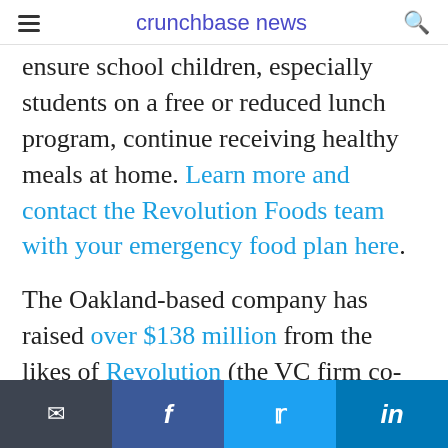crunchbase news
ensure school children, especially students on a free or reduced lunch program, continue receiving healthy meals at home. Learn more and contact the Revolution Foods team with your emergency food plan here.
The Oakland-based company has raised over $138 million from the likes of Revolution (the VC firm co-founded by Steve Case).